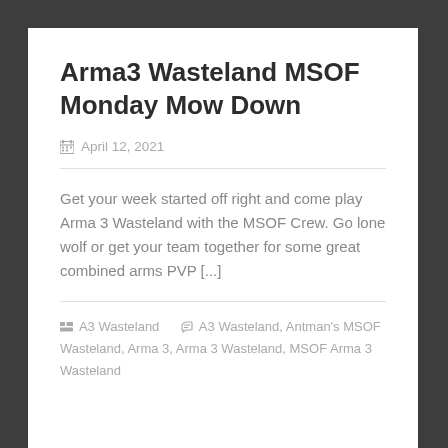Arma3 Wasteland MSOF Monday Mow Down
April 12, 2021
Get your week started off right and come play Arma 3 Wasteland with the MSOF Crew. Go lone wolf or get your team together for some great combined arms PVP [...]
A3 Wasteland   A3 Wasteland, Antman's MSOF Wasteland, Arma 3, Arma 3 Wasteland, MSOF Arma 3 Wasteland